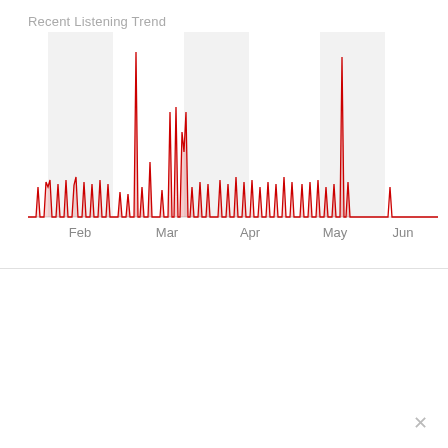Recent Listening Trend
[Figure (continuous-plot): A time series line/bar chart showing listening activity over time from approximately January to July. The x-axis labels Feb, Mar, Apr, May, Jun. The data shows spikes at Mar and Apr (very tall peaks) and Jun (tall peak), with regular smaller spikes throughout. Background has alternating light gray vertical bands for each month region. The line/area is red.]
Play this track
YouTube
Spotify